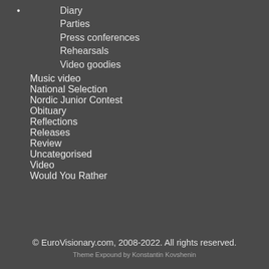Diary
Parties
Press conferences
Rehearsals
Video goodies
Music video
National Selection
Nordic Junior Contest
Obituary
Reflections
Releases
Review
Uncategorised
Video
Would You Rather
© EuroVisionary.com, 2008-2022. All rights reserved.
Theme Expound by Konstantin Kovshenin